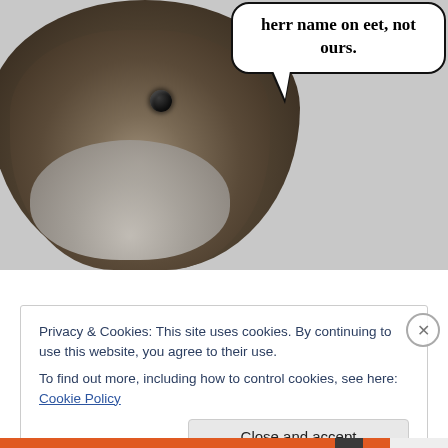[Figure (photo): Close-up photo of a rodent (vole or mouse) with brown fur and a large dark eye, with a speech bubble saying 'herr name on eet, not ours.']
Privacy & Cookies: This site uses cookies. By continuing to use this website, you agree to their use.
To find out more, including how to control cookies, see here: Cookie Policy
Close and accept